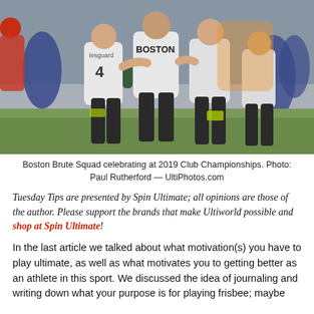[Figure (photo): Boston Brute Squad ultimate frisbee players celebrating at 2019 Club Championships, wearing white jerseys with numbers 4 and Boston text, with dark shorts]
Boston Brute Squad celebrating at 2019 Club Championships. Photo: Paul Rutherford — UltiPhotos.com
Tuesday Tips are presented by Spin Ultimate; all opinions are those of the author. Please support the brands that make Ultiworld possible and shop at Spin Ultimate!
In the last article we talked about what motivation(s) you have to play ultimate, as well as what motivates you to getting better as an athlete in this sport. We discussed the idea of journaling and writing down what your purpose is for playing frisbee; maybe